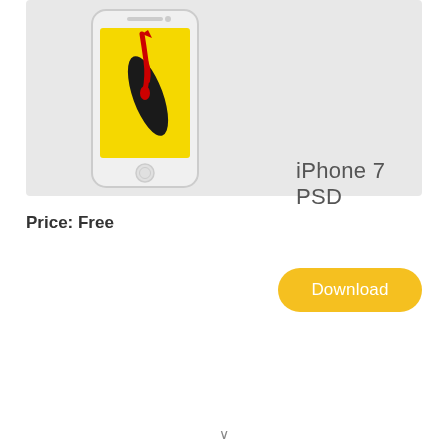[Figure (illustration): iPhone 7 PSD mockup product card showing a white iPhone 7 with a yellow screen displaying a black and red dripping paint design, on a light gray background. Text 'iPhone 7 PSD' appears to the right of the phone.]
Price: Free
Download